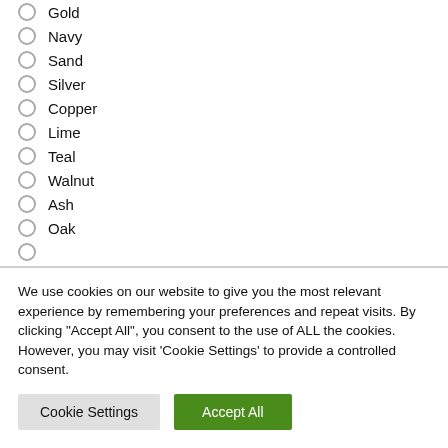Gold
Navy
Sand
Silver
Copper
Lime
Teal
Walnut
Ash
Oak
We use cookies on our website to give you the most relevant experience by remembering your preferences and repeat visits. By clicking "Accept All", you consent to the use of ALL the cookies. However, you may visit 'Cookie Settings' to provide a controlled consent.
Cookie Settings | Accept All